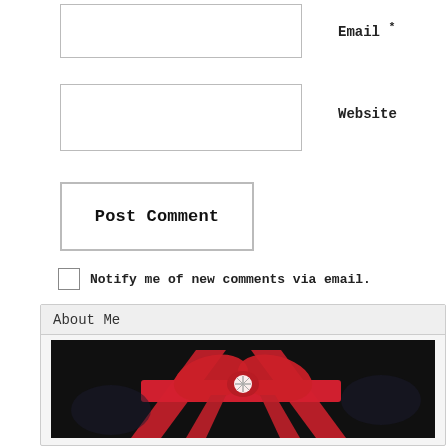Email *
Website
Post Comment
Notify me of new comments via email.
Notify me of new posts via email.
This site uses Akismet to reduce spam. Learn how your comment data is processed.
About Me
[Figure (photo): Photo of a red ribbon bow with a snowflake brooch on dark fabric background]